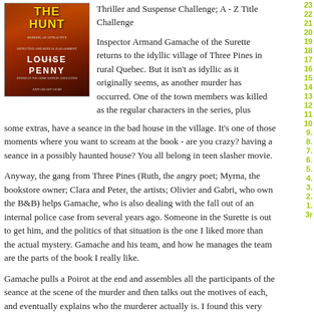[Figure (illustration): Book cover of a mystery novel by Louise Penny, dark red/orange background with forest imagery, title text at top (partially visible), author name LOUISE PENNY in large white letters]
Thriller and Suspense Challenge; A - Z Title Challenge
Inspector Armand Gamache of the Surette returns to the idyllic village of Three Pines in rural Quebec. But it isn't as idyllic as it originally seems, as another murder has occurred. One of the town members was killed as the regular characters in the series, plus some extras, have a seance in the bad house in the village. It's one of those moments where you want to scream at the book - are you crazy? having a seance in a possibly haunted house? You all belong in teen slasher movie.
Anyway, the gang from Three Pines (Ruth, the angry poet; Myrna, the bookstore owner; Clara and Peter, the artists; Olivier and Gabri, who own the B&B) helps Gamache, who is also dealing with the fall out of an internal police case from several years ago. Someone in the Surette is out to get him, and the politics of that situation is the one I liked more than the actual mystery. Gamache and his team, and how he manages the team are the parts of the book I really like.
Gamache pulls a Poirot at the end and assembles all the participants of the seance at the scene of the murder and then talks out the motives of each, and eventually explains who the murderer actually is. I found this very strange